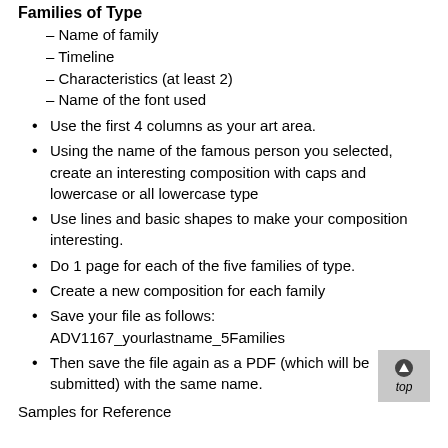Families of Type
–Name of family
–Timeline
–Characteristics (at least 2)
–Name of the font used
Use the first 4 columns as your art area.
Using the name of the famous person you selected, create an interesting composition with caps and lowercase or all lowercase type
Use lines and basic shapes to make your composition interesting.
Do 1 page for each of the five families of type.
Create a new composition for each family
Save your file as follows:
ADV1167_yourlastname_5Families
Then save the file again as a PDF (which will be submitted) with the same name.
Samples for Reference